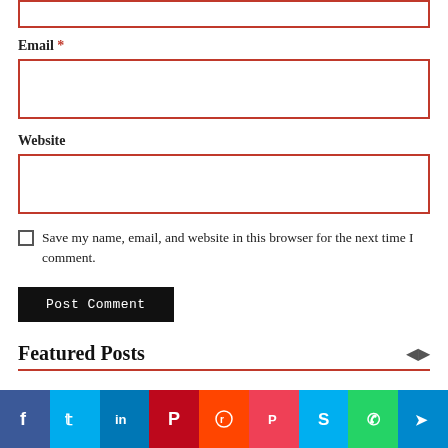[Figure (screenshot): Top portion of a comment form input box (partially visible at top of page) with red border]
Email *
[Figure (screenshot): Email input field with red border, empty]
Website
[Figure (screenshot): Website input field with red border, empty]
Save my name, email, and website in this browser for the next time I comment.
[Figure (screenshot): Post Comment button, dark/black background with white text]
Featured Posts
[Figure (screenshot): Social sharing bar with icons for Facebook, Twitter, LinkedIn, Pinterest, Reddit, Pocket, Skype, WhatsApp, Telegram]